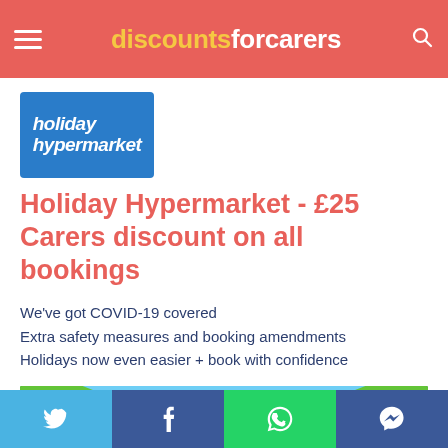discountsforcarers
[Figure (logo): Holiday Hypermarket logo — white text on blue background]
Holiday Hypermarket - £25 Carers discount on all bookings
We've got COVID-19 covered
Extra safety measures and booking amendments
Holidays now even easier + book with confidence
[Figure (photo): Tropical holiday banner image showing palm tree leaves against a bright blue sky]
Social share buttons: Twitter, Facebook, WhatsApp, Messenger